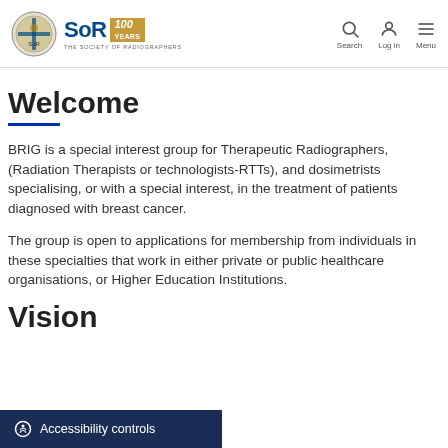SoR 100 YEARS — THE SOCIETY OF RADIOGRAPHERS | Search | Log in | Menu
Welcome
BRIG is a special interest group for Therapeutic Radiographers, (Radiation Therapists or technologists-RTTs), and dosimetrists specialising, or with a special interest, in the treatment of patients diagnosed with breast cancer.
The group is open to applications for membership from individuals in these specialties that work in either private or public healthcare organisations, or Higher Education Institutions.
Vision